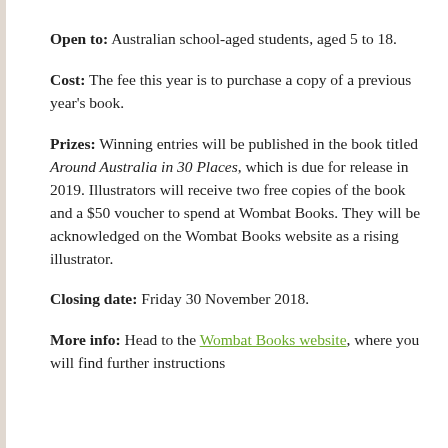Open to: Australian school-aged students, aged 5 to 18.
Cost: The fee this year is to purchase a copy of a previous year's book.
Prizes: Winning entries will be published in the book titled Around Australia in 30 Places, which is due for release in 2019. Illustrators will receive two free copies of the book and a $50 voucher to spend at Wombat Books. They will be acknowledged on the Wombat Books website as a rising illustrator.
Closing date: Friday 30 November 2018.
More info: Head to the Wombat Books website, where you will find further instructions